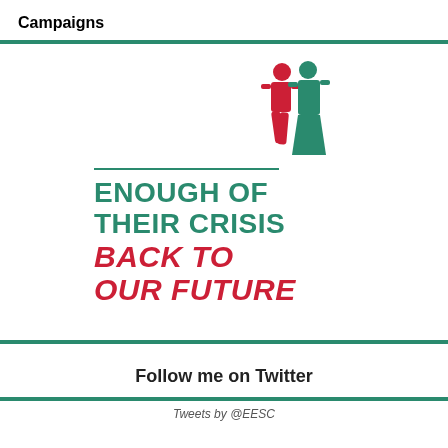Campaigns
[Figure (logo): Campaign logo showing two human silhouettes (one red, one teal) standing together above a horizontal teal line, with text: ENOUGH OF THEIR CRISIS / BACK TO OUR FUTURE]
Follow me on Twitter
Tweets by @EESC